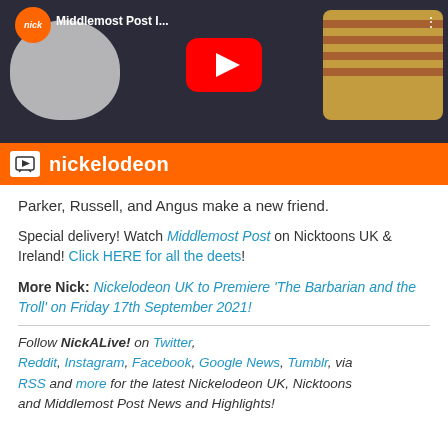[Figure (screenshot): YouTube video thumbnail for 'Middlemost Post I...' on the Nickelodeon channel, showing animated cartoon characters with a red YouTube play button in the center and a Nickelodeon orange branding bar at the bottom.]
Parker, Russell, and Angus make a new friend.
Special delivery! Watch Middlemost Post on Nicktoons UK & Ireland! Click HERE for all the deets!
More Nick: Nickelodeon UK to Premiere 'The Barbarian and the Troll' on Friday 17th September 2021!
Follow NickALive! on Twitter, Reddit, Instagram, Facebook, Google News, Tumblr, via RSS and more for the latest Nickelodeon UK, Nicktoons and Middlemost Post News and Highlights!